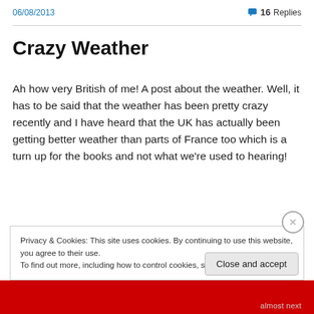06/08/2013
16 Replies
Crazy Weather
Ah how very British of me! A post about the weather. Well, it has to be said that the weather has been pretty crazy recently and I have heard that the UK has actually been getting better weather than parts of France too which is a turn up for the books and not what we're used to hearing!
Privacy & Cookies: This site uses cookies. By continuing to use this website, you agree to their use.
To find out more, including how to control cookies, see here: Cookie Policy
Close and accept